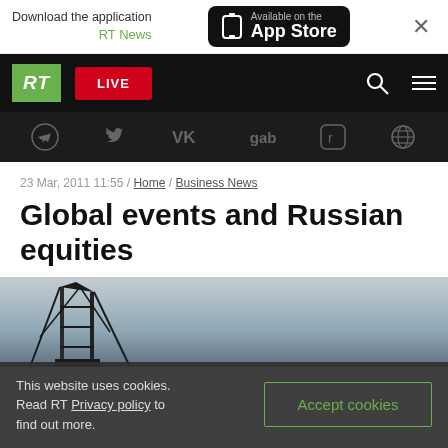Download the application RT News / Available on the App Store
[Figure (screenshot): RT website navigation bar with RT logo (green), LIVE button (red), search icon, hamburger menu icon]
[Figure (screenshot): Social media icons bar: Telegram, Twitter, VK, gab, Parler, and another icon on dark background]
23 Mar, 2011 11:55 / Home / Business News
Global events and Russian equities
[Figure (photo): Photo of an oil rig silhouette against a grey-blue sky]
This website uses cookies. Read RT Privacy policy to find out more.